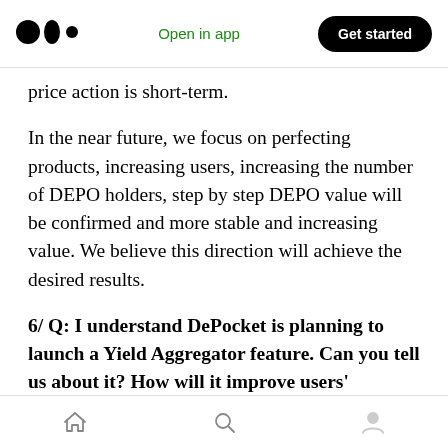Open in app | Get started
price action is short-term.
In the near future, we focus on perfecting products, increasing users, increasing the number of DEPO holders, step by step DEPO value will be confirmed and more stable and increasing value. We believe this direction will achieve the desired results.
6/ Q: I understand DePocket is planning to launch a Yield Aggregator feature. Can you tell us about it? How will it improve users' experience on your platform?
Home | Search | Profile